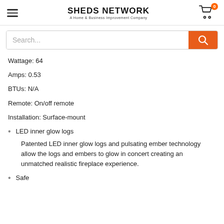SHEDS NETWORK — A Home & Business Improvement Company
Wattage: 64
Amps: 0.53
BTUs: N/A
Remote: On/off remote
Installation: Surface-mount
LED inner glow logs
Patented LED inner glow logs and pulsating ember technology allow the logs and embers to glow in concert creating an unmatched realistic fireplace experience.
Safe